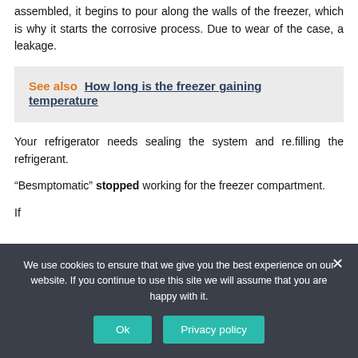assembled, it begins to pour along the walls of the freezer, which is why it starts the corrosive process. Due to wear of the case, a leakage.
See also  How long is the freezer gaining temperature
Your refrigerator needs sealing the system and re.filling the refrigerant.
“Besmptomatic” stopped working for the freezer compartment.
We use cookies to ensure that we give you the best experience on our website. If you continue to use this site we will assume that you are happy with it.